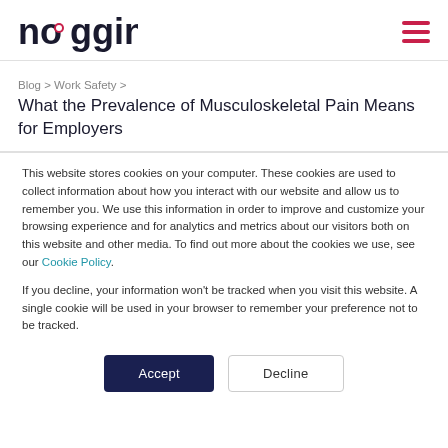noggin [logo] [hamburger menu]
Blog > Work Safety >
What the Prevalence of Musculoskeletal Pain Means for Employers
This website stores cookies on your computer. These cookies are used to collect information about how you interact with our website and allow us to remember you. We use this information in order to improve and customize your browsing experience and for analytics and metrics about our visitors both on this website and other media. To find out more about the cookies we use, see our Cookie Policy.
If you decline, your information won't be tracked when you visit this website. A single cookie will be used in your browser to remember your preference not to be tracked.
Accept | Decline